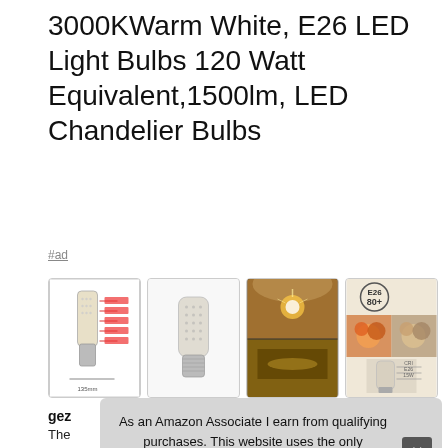3000KWarm White, E26 LED Light Bulbs 120 Watt Equivalent,1500lm, LED Chandelier Bulbs
#ad
[Figure (photo): Four product images of LED bulbs: specs diagram, single bulb photo, chandelier room scenes, and CRI comparison]
gez...
The... bulb... qua... purc...
As an Amazon Associate I earn from qualifying purchases. This website uses the only necessary cookies to ensure you get the best experience on our website. More information